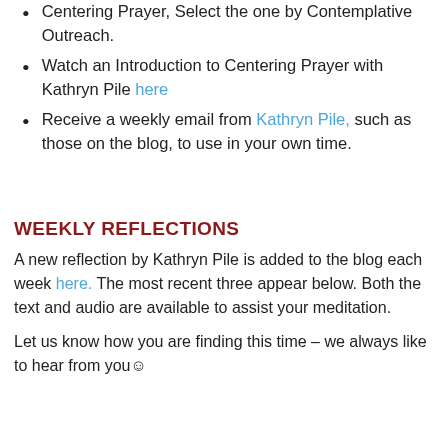Centering Prayer, Select the one by Contemplative Outreach.
Watch an Introduction to Centering Prayer with Kathryn Pile here
Receive a weekly email from Kathryn Pile, such as those on the blog, to use in your own time.
WEEKLY REFLECTIONS
A new reflection by Kathryn Pile is added to the blog each week here. The most recent three appear below. Both the text and audio are available to assist your meditation.
Let us know how you are finding this time – we always like to hear from you☺